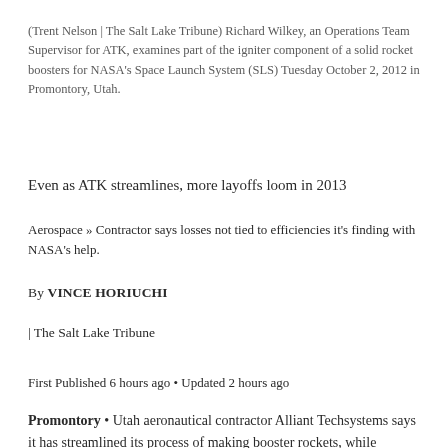(Trent Nelson | The Salt Lake Tribune) Richard Wilkey, an Operations Team Supervisor for ATK, examines part of the igniter component of a solid rocket boosters for NASA's Space Launch System (SLS) Tuesday October 2, 2012 in Promontory, Utah.
Even as ATK streamlines, more layoffs loom in 2013
Aerospace » Contractor says losses not tied to efficiencies it's finding with NASA's help.
By VINCE HORIUCHI
| The Salt Lake Tribune
First Published 6 hours ago • Updated 2 hours ago
Promontory • Utah aeronautical contractor Alliant Techsystems says it has streamlined its process of making booster rockets, while acknowledging Tuesday that it will have to lay off